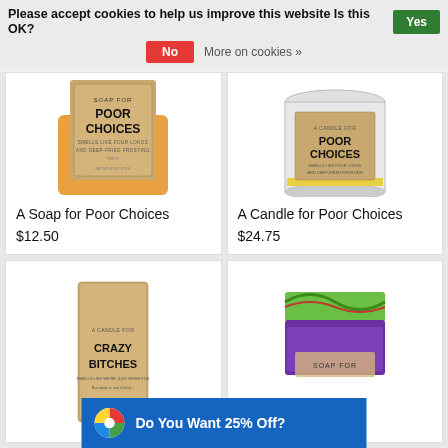Please accept cookies to help us improve this website Is this OK?  Yes  No  More on cookies »
[Figure (photo): A Soap for Poor Choices — kraft-paper label on orange soap bar]
A Soap for Poor Choices
$12.50
[Figure (photo): A Candle for Poor Choices — glass jar candle with kraft-paper label]
A Candle for Poor Choices
$24.75
[Figure (photo): A Candle for Crazy Bitches — tall candle in kraft-paper tube]
[Figure (photo): Soap bar with purple and green swirled top, label reading SOAP FOR]
Do You Want 25% Off?